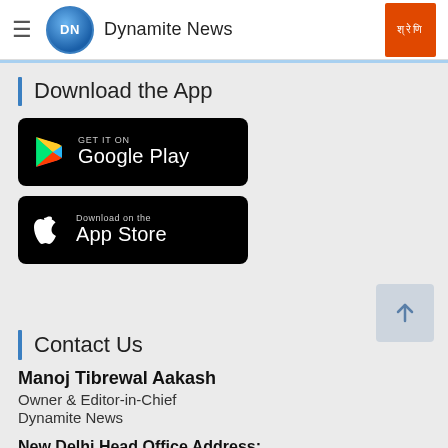Dynamite News
Download the App
[Figure (screenshot): Google Play Store badge — black rounded rectangle with Google Play triangle logo and text 'GET IT ON Google Play']
[Figure (screenshot): Apple App Store badge — black rounded rectangle with Apple logo and text 'Download on the App Store']
Contact Us
Manoj Tibrewal Aakash
Owner & Editor-in-Chief
Dynamite News
New Delhi Head Office Address: